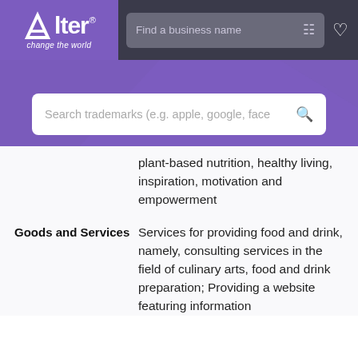Alter® change the world — Find a business name
[Figure (screenshot): Search bar with placeholder text 'Search trademarks (e.g. apple, google, face' and a magnifying glass icon on a purple background]
plant-based nutrition, healthy living, inspiration, motivation and empowerment
Goods and Services
Services for providing food and drink, namely, consulting services in the field of culinary arts, food and drink preparation; Providing a website featuring information